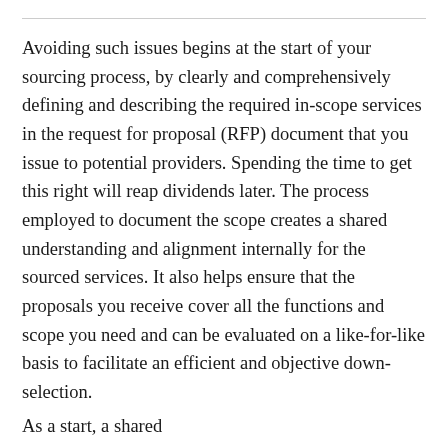Avoiding such issues begins at the start of your sourcing process, by clearly and comprehensively defining and describing the required in-scope services in the request for proposal (RFP) document that you issue to potential providers. Spending the time to get this right will reap dividends later. The process employed to document the scope creates a shared understanding and alignment internally for the sourced services. It also helps ensure that the proposals you receive cover all the functions and scope you need and can be evaluated on a like-for-like basis to facilitate an efficient and objective down-selection.
As a start, a shared...